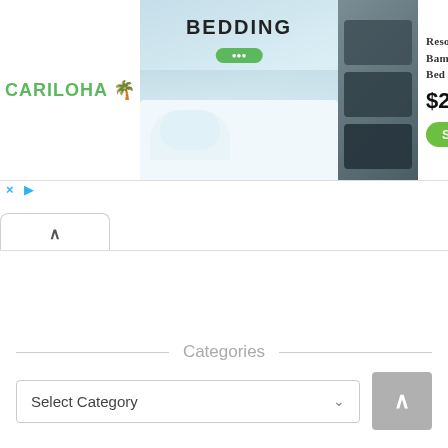[Figure (screenshot): Cariloha advertisement banner showing bedding products. Left section has green CARILOHA logo with palm icon. Center has a person lying on white bedding with 'BEDDING' text in large bold letters and a green button. Right shows dark pillow/bedding product image. Far right panel shows 'Resort Bamboo Bed She...' product name, price $279, and green Shop button. Below the ad are close (x) and play controls.]
[Figure (screenshot): A collapse/hide tab with an upward-pointing chevron (^) indicating the ad banner can be collapsed.]
Categories
Select Category